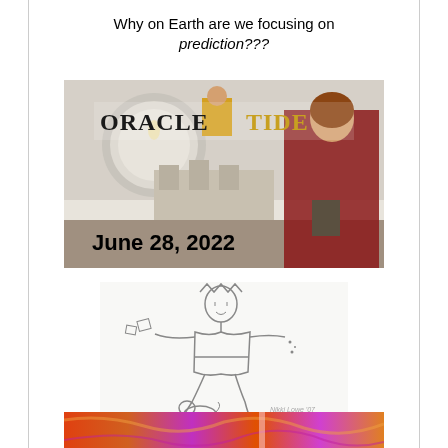Why on Earth are we focusing on prediction???
[Figure (illustration): Oracle Tide magazine/newsletter cover image dated June 28, 2022, featuring a woman in a red cape holding a book, a figure in yellow, and a castle, with the text 'ORACLE TIDE' and 'June 28, 2022']
[Figure (illustration): Pencil sketch illustration of a jester or fool figure wearing a crown, dancing/leaping, with a small dog at his feet. The sketch appears to be a tarot-card style illustration of The Fool.]
[Figure (illustration): Partial view of a colorful marbled or painted image in orange, purple, and pink tones, partially visible at the bottom of the page.]